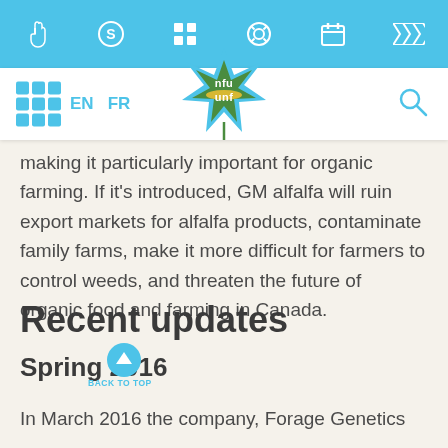[Figure (screenshot): Light blue mobile toolbar with icons: hand/stop, S/account, grid/menu, help/lifesaver, calendar, tags/bookmark]
NFU UNF navigation bar with language switcher EN / FR, NFU maple leaf logo, and search icon
making it particularly important for organic farming. If it's introduced, GM alfalfa will ruin export markets for alfalfa products, contaminate family farms, make it more difficult for farmers to control weeds, and threaten the future of organic food and farming in Canada.
Recent updates
Spring 2016
In March 2016 the company, Forage Genetics